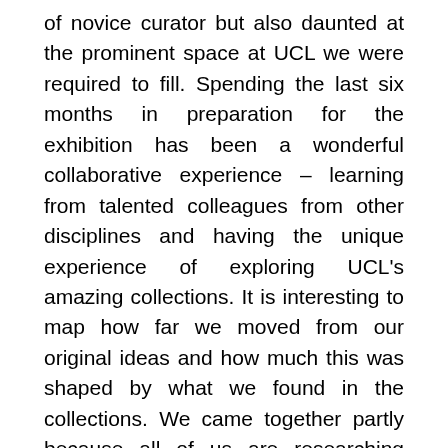of novice curator but also daunted at the prominent space at UCL we were required to fill. Spending the last six months in preparation for the exhibition has been a wonderful collaborative experience – learning from talented colleagues from other disciplines and having the unique experience of exploring UCL's amazing collections. It is interesting to map how far we moved from our original ideas and how much this was shaped by what we found in the collections. We came together partly because all of us are researching movement in different ways – particularly the significance of travelling material cultures through time and space. As we shared our own research interests and thought about the exhibition, the idea emerged to think about UCL as an institution which is also in motion – spatially and intellectually. Encountering UCL's amazingly eclectic and diverse collections we were confronted both with the